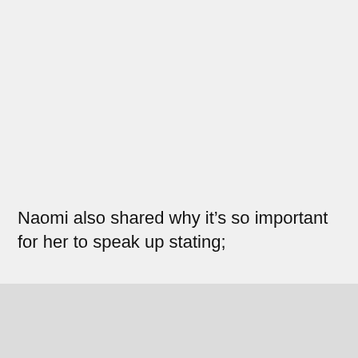Naomi also shared why it’s so important for her to speak up stating;
“Speaking up on issues that aren’t always easy to talk about is new to me but something I am